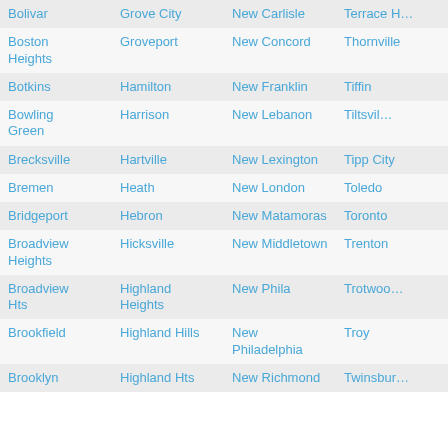| Bolivar | Grove City | New Carlisle | Terrace P… |
| Boston Heights | Groveport | New Concord | Thornville |
| Botkins | Hamilton | New Franklin | Tiffin |
| Bowling Green | Harrison | New Lebanon | Tiltsonville |
| Brecksville | Hartville | New Lexington | Tipp City |
| Bremen | Heath | New London | Toledo |
| Bridgeport | Hebron | New Matamoras | Toronto |
| Broadview Heights | Hicksville | New Middletown | Trenton |
| Broadview Hts | Highland Heights | New Phila | Trotwood |
| Brookfield | Highland Hills | New Philadelphia | Troy |
| Brooklyn | Highland Hts | New Richmond | Twinsburg |